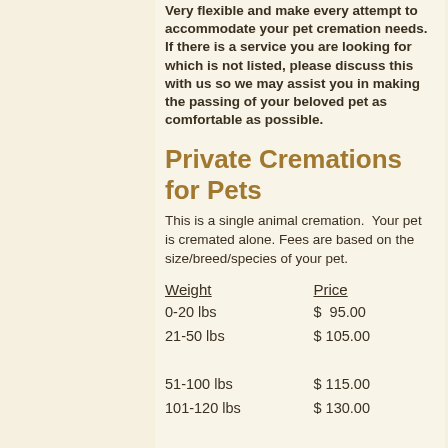Very flexible and make every attempt to accommodate your pet cremation needs. If there is a service you are looking for which is not listed, please discuss this with us so we may assist you in making the passing of your beloved pet as comfortable as possible.
Private Cremations for Pets
This is a single animal cremation. Your pet is cremated alone. Fees are based on the size/breed/species of your pet.
| Weight | Price |
| --- | --- |
| 0-20 lbs | $  95.00 |
| 21-50 lbs | $ 105.00 |
| 51-100 lbs | $ 115.00 |
| 101-120 lbs | $ 130.00 |